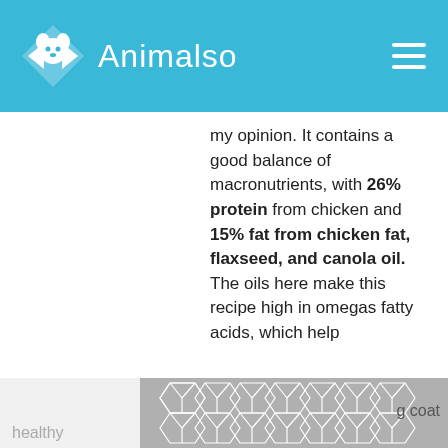Animalso
my opinion. It contains a good balance of macronutrients, with 26% protein from chicken and 15% fat from chicken fat, flaxseed, and canola oil. The oils here make this recipe high in omegas fatty acids, which help
g coat
healthy